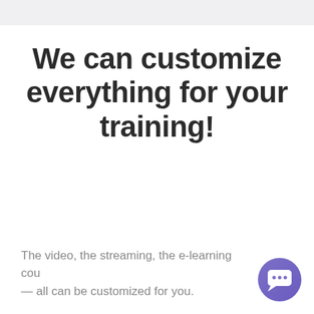We can customize everything for your training!
The video, the streaming, the e-learning cou — all can be customized for you.